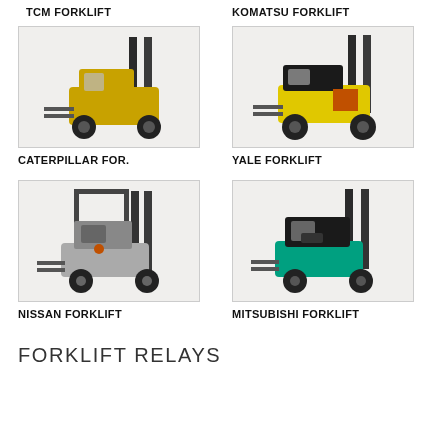TCM FORKLIFT
KOMATSU FORKLIFT
[Figure (photo): Caterpillar forklift, yellow, front-facing]
[Figure (photo): Yale forklift, yellow and black, side view]
CATERPILLAR FOR.
YALE FORKLIFT
[Figure (photo): Nissan forklift, gray/silver, front view]
[Figure (photo): Mitsubishi forklift, teal/green, front view]
NISSAN FORKLIFT
MITSUBISHI FORKLIFT
FORKLIFT RELAYS